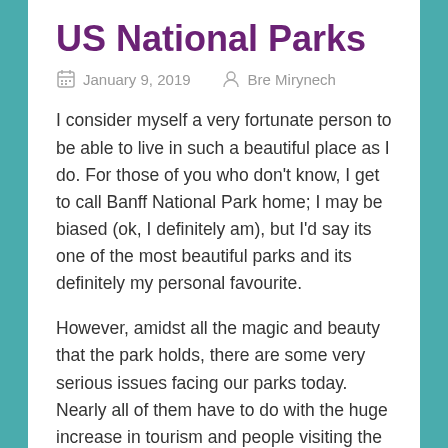US National Parks
January 9, 2019   Bre Mirynech
I consider myself a very fortunate person to be able to live in such a beautiful place as I do. For those of you who don't know, I get to call Banff National Park home; I may be biased (ok, I definitely am), but I'd say its one of the most beautiful parks and its definitely my personal favourite.
However, amidst all the magic and beauty that the park holds, there are some very serious issues facing our parks today. Nearly all of them have to do with the huge increase in tourism and people visiting the park. Overcrowding, mind blowing traffic congestion, lack of parking, littering, feeding animals, not giving animals space, destroying fragile areas, the list truly and sadly goes on.